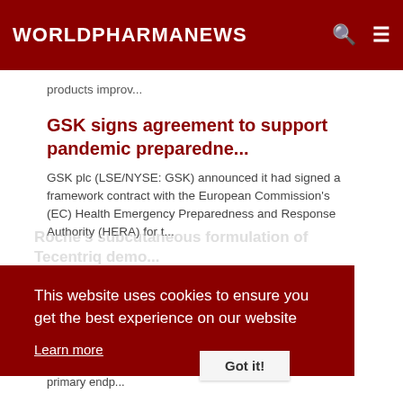WORLDPHARMANEWS
products improv...
GSK signs agreement to support pandemic preparedne...
GSK plc (LSE/NYSE: GSK) announced it had signed a framework contract with the European Commission's (EC) Health Emergency Preparedness and Response Authority (HERA) for t...
Roche's subcutaneous formulation of Tecentriq demo...
Roche (SIX: RO, ROG; OTCQX: RHHBY) announced that the Phase III IMscin001 study evaluating a subcutaneous formulation of Tecentriq® (atezolizumab) met its co-primary endp...
This website uses cookies to ensure you get the best experience on our website
Learn more
Got it!